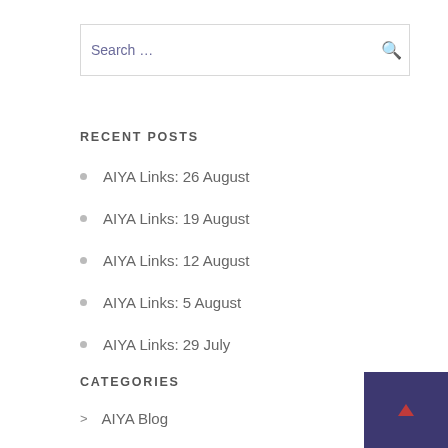Search …
RECENT POSTS
AIYA Links: 26 August
AIYA Links: 19 August
AIYA Links: 12 August
AIYA Links: 5 August
AIYA Links: 29 July
CATEGORIES
AIYA Blog
[Figure (other): Back to top button, dark purple square with small red/pink upward arrow]